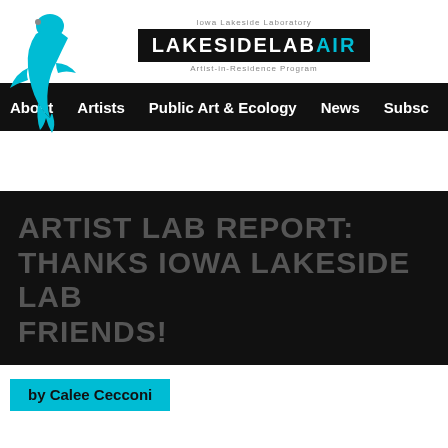[Figure (logo): LakesideLabAIR logo with blue bird/lake silhouette and black box with text LAKESIDELAB in white and AIR in cyan, with small text above reading Iowa Lakeside Laboratory and below reading Artist-in-Residence Program]
About  Artists  Public Art & Ecology  News  Subsc
ARTIST LAB REPORT: THANKS IOWA LAKESIDE LAB FRIENDS!
by Calee Cecconi